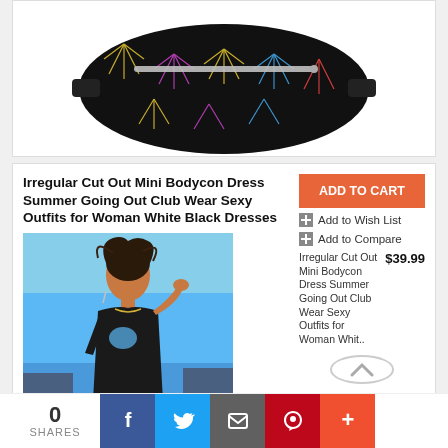[Figure (photo): Colorful star/geometric pattern fanny pack / belt bag on white background, partially visible at top]
Irregular Cut Out Mini Bodycon Dress Summer Going Out Club Wear Sexy Outfits for Woman White Black Dresses
[Figure (photo): Woman wearing black cut-out bodycon dress against blue sky background]
ADD TO CART
Add to Wish List
Add to Compare
Irregular Cut Out Mini Bodycon Dress Summer Going Out Club Wear Sexy Outfits for Woman Whit.. $39.99
0 SHARES